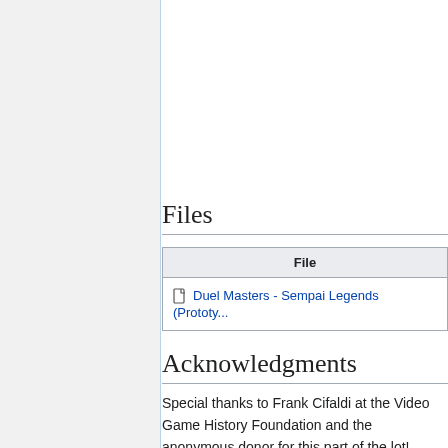Files
| File |
| --- |
| Duel Masters - Sempai Legends (Prototy... |
Acknowledgments
Special thanks to Frank Cifaldi at the Video Game History Foundation and the anonymous donor for this part of the lot!